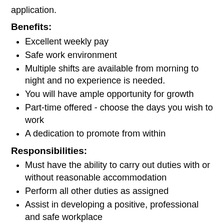application.
Benefits:
Excellent weekly pay
Safe work environment
Multiple shifts are available from morning to night and no experience is needed.
You will have ample opportunity for growth
Part-time offered - choose the days you wish to work
A dedication to promote from within
Responsibilities:
Must have the ability to carry out duties with or without reasonable accommodation
Perform all other duties as assigned
Assist in developing a positive, professional and safe workplace
Qualifications: